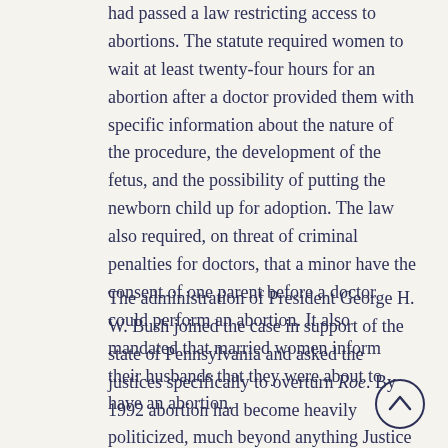had passed a law restricting access to abortions. The statute required women to wait at least twenty-four hours for an abortion after a doctor provided them with specific information about the nature of the procedure, the development of the fetus, and the possibility of putting the newborn child up for adoption. The law also required, on threat of criminal penalties for doctors, that a minor have the consent of one parent before a doctor could perform an abortion. It also mandated that married women inform their husbands that they were about to have an abortion.
The administration of President George H. W. Bush joined the case in support of the state of Pennsylvania and asked the justices specifically to overturn Roe. By 1992 abortion had become heavily politicized, much beyond anything Justice Blackmun had anticipated. The Court had undergone significant change as well, not only with Rehnquist becoming chief justice but with Antonin Scalia and Clarence Thomas, both strongly antiabortion, joining the bench. A bitterly divided Cou... voted 5 to 4 in Casey to sustain Roe. The opinion for the